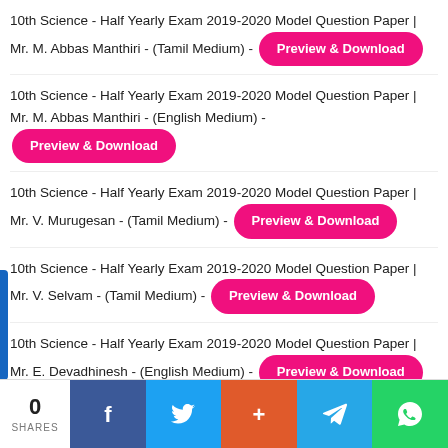10th Science - Half Yearly Exam 2019-2020 Model Question Paper | Mr. M. Abbas Manthiri - (Tamil Medium) - Preview & Download
10th Science - Half Yearly Exam 2019-2020 Model Question Paper | Mr. M. Abbas Manthiri - (English Medium) - Preview & Download
10th Science - Half Yearly Exam 2019-2020 Model Question Paper | Mr. V. Murugesan - (Tamil Medium) - Preview & Download
10th Science - Half Yearly Exam 2019-2020 Model Question Paper | Mr. V. Selvam - (Tamil Medium) - Preview & Download
10th Science - Half Yearly Exam 2019-2020 Model Question Paper | Mr. E. Devadhinesh - (English Medium) - Preview & Download